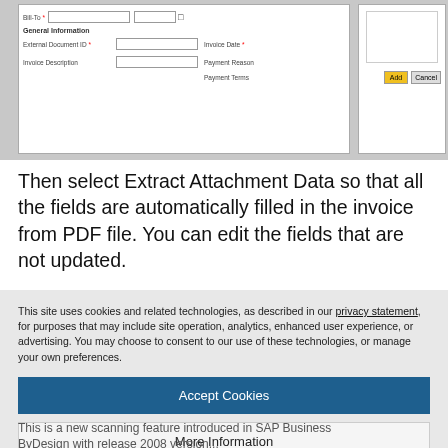[Figure (screenshot): Screenshot of a UI form for a scanned invoice with fields like Bill-To, General Information, External Document ID, Invoice Description, Invoice Date, Payment Reason, Payment Terms, and a right panel with Add/Cancel buttons.]
Then select Extract Attachment Data so that all the fields are automatically filled in the invoice from PDF file. You can edit the fields that are not updated.
[Figure (screenshot): Screenshot of New Scanned Invoice interface showing Status: In Process, Blocking: Not Blocked, Total Gross Amount, Supplier fields.]
This site uses cookies and related technologies, as described in our privacy statement, for purposes that may include site operation, analytics, enhanced user experience, or advertising. You may choose to consent to our use of these technologies, or manage your own preferences.
Accept Cookies
More Information
Privacy Policy | Powered by: TrustArc
This is a new scanning feature introduced in SAP Business ByDesign with release 2008 version...